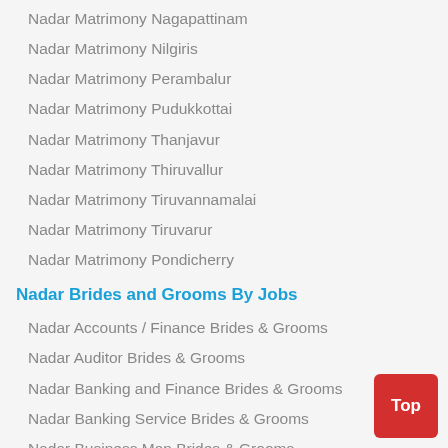Nadar Matrimony Nagapattinam
Nadar Matrimony Nilgiris
Nadar Matrimony Perambalur
Nadar Matrimony Pudukkottai
Nadar Matrimony Thanjavur
Nadar Matrimony Thiruvallur
Nadar Matrimony Tiruvannamalai
Nadar Matrimony Tiruvarur
Nadar Matrimony Pondicherry
Nadar Brides and Grooms By Jobs
Nadar Accounts / Finance Brides & Grooms
Nadar Auditor Brides & Grooms
Nadar Banking and Finance Brides & Grooms
Nadar Banking Service Brides & Grooms
Nadar Business Man Brides & Grooms
Nadar Chartered Accountant Brides & Grooms
Nadar Doctor Brides & Grooms
Nadar Education Brides & Grooms